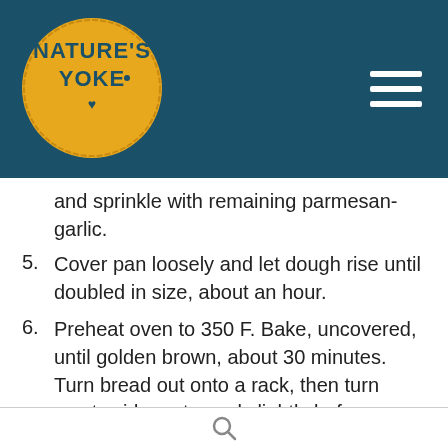[Figure (logo): Nature's Yoke logo — yellow circle with dark teal text reading NATURE'S YOKE with a small heart, on dark teal header background]
and sprinkle with remaining parmesan-garlic.
5. Cover pan loosely and let dough rise until doubled in size, about an hour.
6. Preheat oven to 350 F. Bake, uncovered, until golden brown, about 30 minutes. Turn bread out onto a rack, then turn crusty side up to cool slightly before serving. Serve warm. (To reheat leftovers, wrap in foil and heat in oven.)
search icon